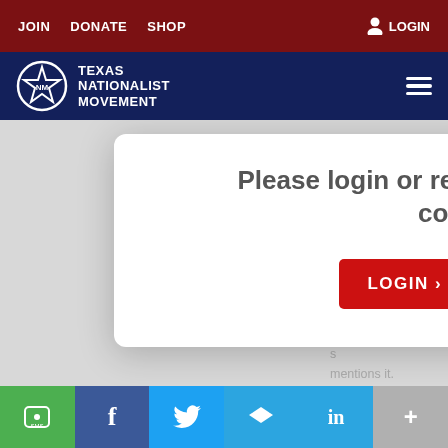JOIN   DONATE   SHOP   LOGIN
[Figure (logo): Texas Nationalist Movement logo with star in circle and hamburger menu icon]
Please login or register support to join the conversation
LOGIN >   REGISTER >
had the right to leave Great Britain; the sou original Declaration of Independence, we s mentions it.
SMS  f  Twitter  Telegram  in  +